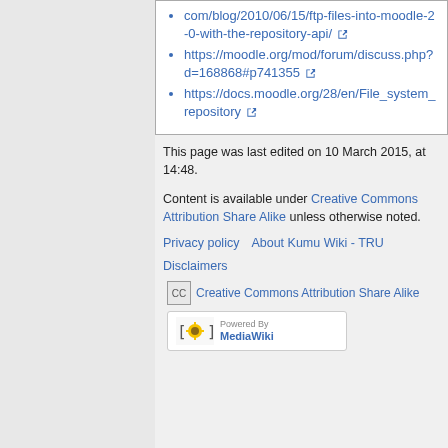com/blog/2010/06/15/ftp-files-into-moodle-2-0-with-the-repository-api/
https://moodle.org/mod/forum/discuss.php?d=168868#p741355
https://docs.moodle.org/28/en/File_system_repository
This page was last edited on 10 March 2015, at 14:48.
Content is available under Creative Commons Attribution Share Alike unless otherwise noted.
Privacy policy    About Kumu Wiki - TRU
Disclaimers
[Figure (logo): Creative Commons Attribution Share Alike badge]
[Figure (logo): Powered By MediaWiki badge]